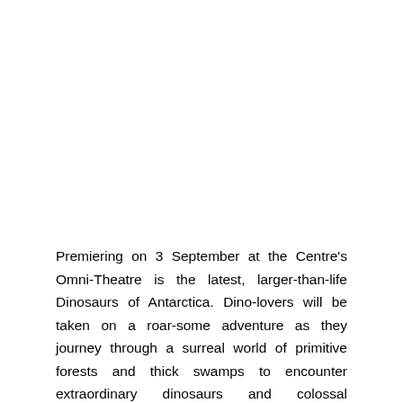Premiering on 3 September at the Centre's Omni-Theatre is the latest, larger-than-life Dinosaurs of Antarctica. Dino-lovers will be taken on a roar-some adventure as they journey through a surreal world of primitive forests and thick swamps to encounter extraordinary dinosaurs and colossal amphibians.